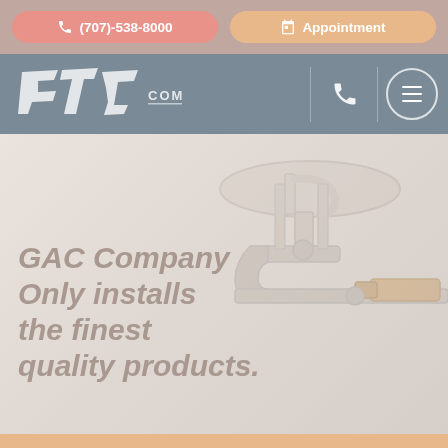☎ (707)-538-8000   📅 Appointment
[Figure (logo): GTC Company logo with stylized white letters and 'COMPANY' text on blue-grey navigation bar, with phone icon and hamburger menu circle button]
[Figure (photo): Hero image of plumbing pipes and fixtures (P-trap, faucet, wrench) with soft faded overlay on light background]
GAC Company Only installs the finest quality products.